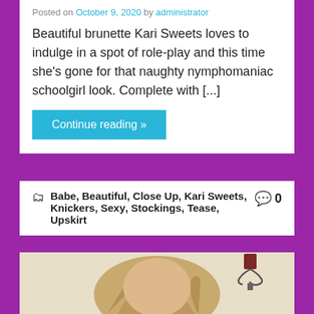Posted on October 9, 2020 by administrator
Beautiful brunette Kari Sweets loves to indulge in a spot of role-play and this time she’s gone for that naughty nymphomaniac schoolgirl look. Complete with [...]
Continue reading »
Babe, Beautiful, Close Up, Kari Sweets, Knickers, Sexy, Stockings, Tease, Upskirt  0
[Figure (photo): Photo of a young blonde woman with long hair looking over her shoulder, with a decorative candle sconce visible in the upper right background against a light beige wall.]